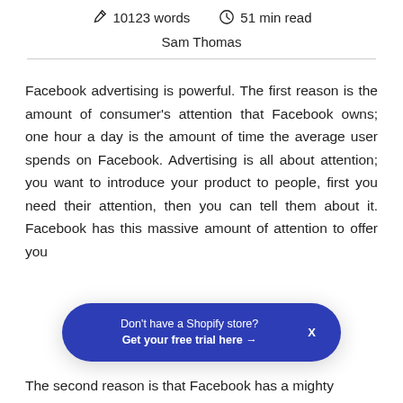✏ 10123 words  🕐 51 min read
Sam Thomas
Facebook advertising is powerful. The first reason is the amount of consumer's attention that Facebook owns; one hour a day is the amount of time the average user spends on Facebook. Advertising is all about attention; you want to introduce your product to people, first you need their attention, then you can tell them about it. Facebook has this massive amount of attention to offer you
[Figure (other): Popup banner: Don't have a Shopify store? Get your free trial here →  X]
The second reason is that Facebook has a mighty